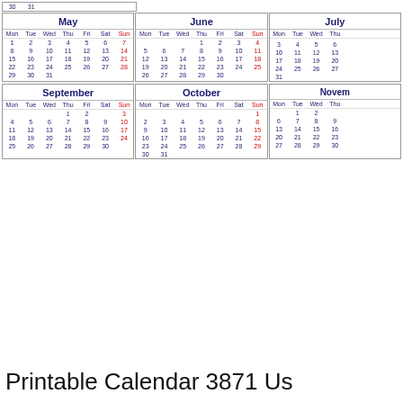| Mon | Tue | Wed | Thu | Fri | Sat | Sun |
| --- | --- | --- | --- | --- | --- | --- |
| 30 | 31 |  |  |  |  |  |
| Mon | Tue | Wed | Thu | Fri | Sat | Sun |
| --- | --- | --- | --- | --- | --- | --- |
|  |  |  |  |  |  |  |
| 1 | 2 | 3 | 4 | 5 | 6 | 7 |
| 8 | 9 | 10 | 11 | 12 | 13 | 14 |
| 15 | 16 | 17 | 18 | 19 | 20 | 21 |
| 22 | 23 | 24 | 25 | 26 | 27 | 28 |
| 29 | 30 | 31 |  |  |  |  |
| Mon | Tue | Wed | Thu | Fri | Sat | Sun |
| --- | --- | --- | --- | --- | --- | --- |
|  |  | 1 | 2 | 3 | 4 |  |
| 5 | 6 | 7 | 8 | 9 | 10 | 11 |
| 12 | 13 | 14 | 15 | 16 | 17 | 18 |
| 19 | 20 | 21 | 22 | 23 | 24 | 25 |
| 26 | 27 | 28 | 29 | 30 |  |  |
| Mon | Tue | Wed | Thu | Fri | Sat | Sun |
| --- | --- | --- | --- | --- | --- | --- |
|  |  |  |  |  |  |  |
| 3 | 4 | 5 | 6 |  |  |  |
| 10 | 11 | 12 | 13 |  |  |  |
| 17 | 18 | 19 | 20 |  |  |  |
| 24 | 25 | 26 | 27 |  |  |  |
| 31 |  |  |  |  |  |  |
| Mon | Tue | Wed | Thu | Fri | Sat | Sun |
| --- | --- | --- | --- | --- | --- | --- |
|  |  |  | 1 | 2 | 3 |  |
| 4 | 5 | 6 | 7 | 8 | 9 | 10 |
| 11 | 12 | 13 | 14 | 15 | 16 | 17 |
| 18 | 19 | 20 | 21 | 22 | 23 | 24 |
| 25 | 26 | 27 | 28 | 29 | 30 |  |
| Mon | Tue | Wed | Thu | Fri | Sat | Sun |
| --- | --- | --- | --- | --- | --- | --- |
|  |  |  |  |  |  | 1 |
| 2 | 3 | 4 | 5 | 6 | 7 | 8 |
| 9 | 10 | 11 | 12 | 13 | 14 | 15 |
| 16 | 17 | 18 | 19 | 20 | 21 | 22 |
| 23 | 24 | 25 | 26 | 27 | 28 | 29 |
| 30 | 31 |  |  |  |  |  |
| Mon | Tue | Wed | Thu | Fri | Sat | Sun |
| --- | --- | --- | --- | --- | --- | --- |
|  | 1 | 2 |  |  |  |  |
| 6 | 7 | 8 | 9 |  |  |  |
| 13 | 14 | 15 | 16 |  |  |  |
| 20 | 21 | 22 | 23 |  |  |  |
| 27 | 28 | 29 | 30 |  |  |  |
Printable Calendar 3871 Us